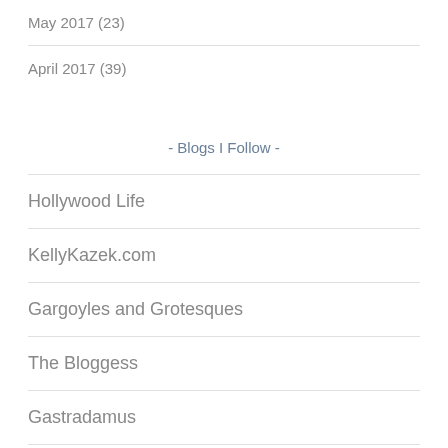May 2017 (23)
April 2017 (39)
- Blogs I Follow -
Hollywood Life
KellyKazek.com
Gargoyles and Grotesques
The Bloggess
Gastradamus